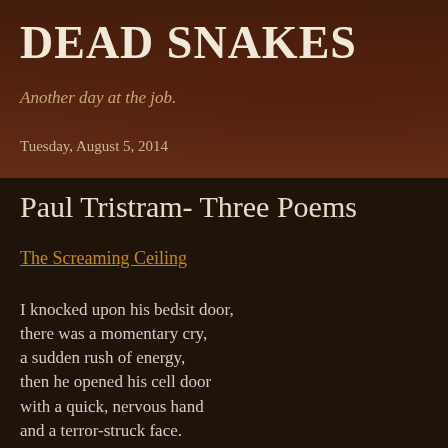DEAD SNAKES
Another day at the job.
Tuesday, August 5, 2014
Paul Tristram- Three Poems
The Screaming Ceiling
I knocked upon his bedsit door,
there was a momentary cry,
a sudden rush of energy,
then he opened his cell door
with a quick, nervous hand
and a terror-struck face.
He was as white as a ghost
and sweating profusely,